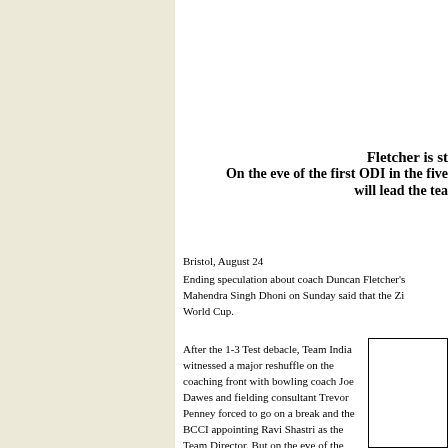Fletcher is st
On the eve of the first ODI in the five
will lead the tea
Bristol, August 24
Ending speculation about coach Duncan Fletcher's
Mahendra Singh Dhoni on Sunday said that the Zi
World Cup.
After the 1-3 Test debacle, Team India witnessed a major reshuffle on the coaching front with bowling coach Joe Dawes and fielding consultant Trevor Penney forced to go on a break and the BCCI appointing Ravi Shastri as the Team Director. But on the eve of the first ODI, Dhoni said that Fletcher is still "the boss". "He will lead us into the World Cup," said Dhoni referring to the